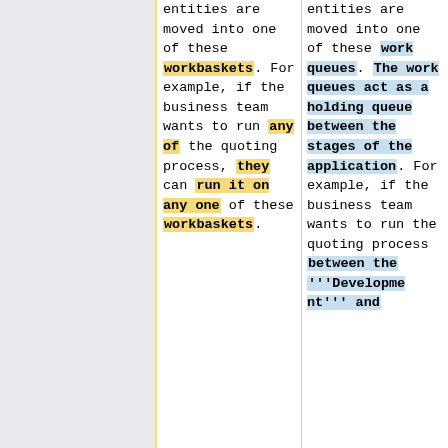entities are moved into one of these workbaskets. For example, if the business team wants to run any of the quoting process, they can run it on any one of these workbaskets.
entities are moved into one of these work queues. The work queues act as a holding queue between the stages of the application. For example, if the business team wants to run the quoting process between the '''Development''' and